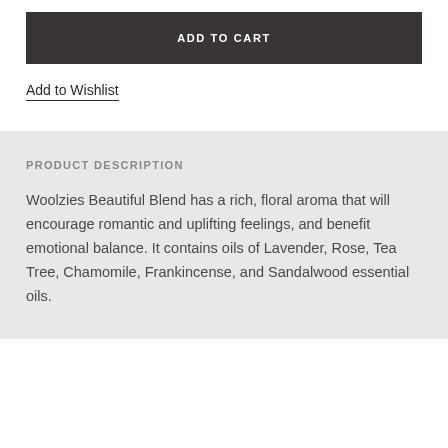ADD TO CART
Add to Wishlist
PRODUCT DESCRIPTION
Woolzies Beautiful Blend has a rich, floral aroma that will encourage romantic and uplifting feelings, and benefit emotional balance. It contains oils of Lavender, Rose, Tea Tree, Chamomile, Frankincense, and Sandalwood essential oils.